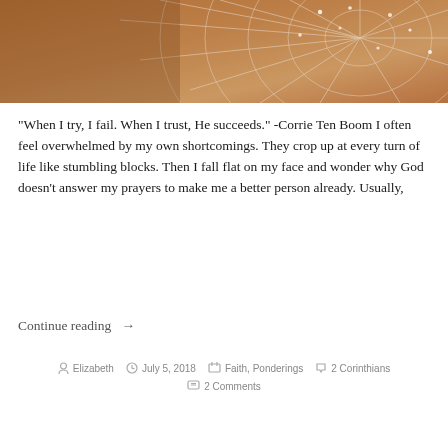[Figure (photo): Close-up photograph of a spider web with dew drops, warm orange-brown background tones]
“When I try, I fail. When I trust, He succeeds.” -Corrie Ten Boom I often feel overwhelmed by my own shortcomings. They crop up at every turn of life like stumbling blocks. Then I fall flat on my face and wonder why God doesn’t answer my prayers to make me a better person already. Usually,
Continue reading →
By Elizabeth   July 5, 2018   Faith, Ponderings   2 Corinthians   2 Comments